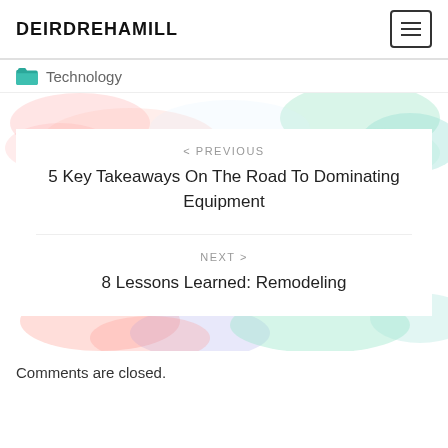DEIRDREHAMILL
Technology
[Figure (illustration): Watercolor background with pastel pink, blue, green splashes, containing a white navigation card with previous and next post links]
< PREVIOUS
5 Key Takeaways On The Road To Dominating Equipment
NEXT >
8 Lessons Learned: Remodeling
Comments are closed.